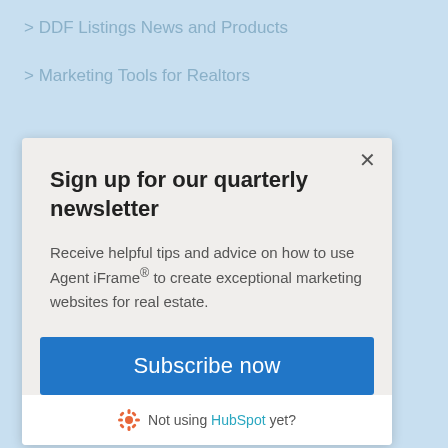> DDF Listings News and Products
> Marketing Tools for Realtors
Sign up for our quarterly newsletter
Receive helpful tips and advice on how to use Agent iFrame® to create exceptional marketing websites for real estate.
Subscribe now
Not using HubSpot yet?
> Uncategorized
> Wordpress